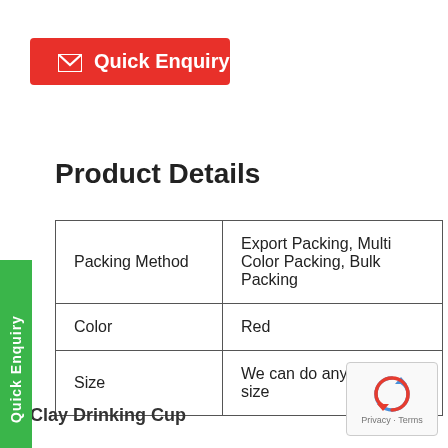[Figure (other): Quick Enquiry button — red background with mail icon and bold white text]
Product Details
| Packing Method | Export Packing, Multi Color Packing, Bulk Packing |
| Color | Red |
| Size | We can do any custom size |
Clay Drinking Cup
[Figure (other): reCAPTCHA widget with circular arrow logo and Privacy - Terms text]